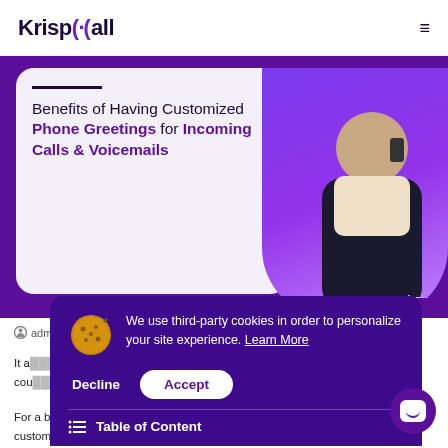KrispCall
[Figure (screenshot): Hero banner for KrispCall blog post showing 'Benefits of Having Customized Phone Greetings for Incoming Calls & Voicemails' with a man talking on phone, purple background, KrispCall watermark]
admin  09 Jun 22  11 min read
It a... cou...
For a busines... nal and make th... customers feel valued at the same time. And greeting the inbound
[Figure (screenshot): Cookie consent banner overlay with purple background showing: 'We use third-party cookies in order to personalize your site experience. Learn More' with Decline and Accept buttons and Table of Content toggle. Cookie emoji icon visible.]